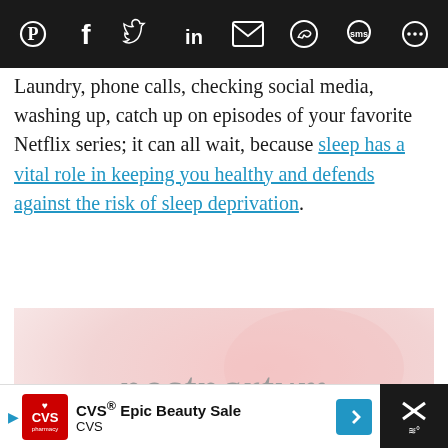Social share icons: Pinterest, Facebook, Twitter, LinkedIn, Email, WhatsApp, SMS, Other
Laundry, phone calls, checking social media, washing up, catch up on episodes of your favorite Netflix series; it can all wait, because sleep has a vital role in keeping you healthy and defends against the risk of sleep deprivation.
[Figure (illustration): Postpartum insomnia graphic with cursive 'postpartum' text above bold block letters 'INSOMNIA' on a soft pink watercolor background]
CVS Epic Beauty Sale — CVS (advertisement with navigation icon)